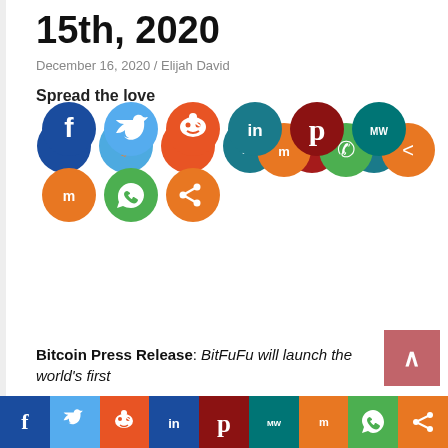15th, 2020
December 16, 2020 / Elijah David
Spread the love
[Figure (infographic): Row of social media sharing icons: Facebook (dark blue), Twitter (light blue), Reddit (orange-red), LinkedIn (dark teal), Pinterest (dark red), MeWe (teal), Mix (orange), WhatsApp (green), Share (orange)]
Bitcoin Press Release: BitFuFu will launch the world's first
[Figure (infographic): Bottom navigation bar with social media icons: Facebook (dark blue), Twitter (light blue), Reddit (orange-red), LinkedIn (dark blue), Pinterest (dark red), MeWe (teal), Mix (orange), WhatsApp (green), Share (orange)]